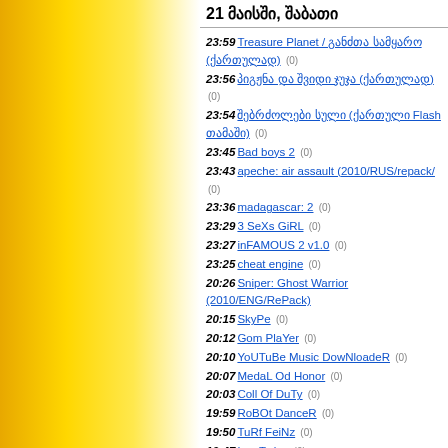21 მაისში, შაბათი
23:59 Treasure Planet / განძთა სამყარო (ქართულად) (0)
23:56 პიგჟნა და შვიდი ჯუჯა (ქართულად) (0)
23:54 შებრძოლები სული (ქართული Flash თამაში) (0)
23:45 Bad boys 2 (0)
23:43 apeche: air assault (2010/RUS/repack/ (0)
23:36 madagascar: 2 (0)
23:29 3 SeXs GiRL (0)
23:27 inFAMOUS 2 v1.0 (0)
23:25 cheat engine (0)
20:26 Sniper: Ghost Warrior (2010/ENG/RePack)
20:15 SkyPe (0)
20:12 Gom PlaYer (0)
20:10 YoUTuBe Music DowNloadeR (0)
20:07 MedaL Od Honor (0)
20:03 Coll Of DuTy (0)
19:59 RoBOt DanceR (0)
19:50 TuRf FeiNz (0)
19:47 Les Twins (0)
19:44 Les Twins (0)
19:31 TanGled (0)
19:18 Saw 7 (0)
19:15 Saw 6 (0)
19:12 Saw 5 (0)